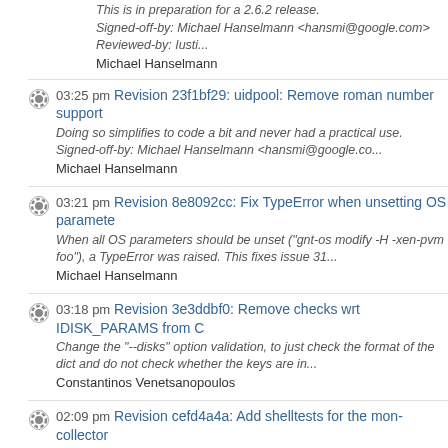This is in preparation for a 2.6.2 release.
Signed-off-by: Michael Hanselmann <hansmi@google.com>
Reviewed-by: Iusti...
Michael Hanselmann
03:25 pm Revision 23f1bf29: uidpool: Remove roman number support
Doing so simplifies to code a bit and never had a practical use.
Signed-off-by: Michael Hanselmann <hansmi@google.co...
Michael Hanselmann
03:21 pm Revision 8e8092cc: Fix TypeError when unsetting OS parameter
When all OS parameters should be unset ("gnt-os modify -H -xen-pvm foo"), a TypeError was raised. This fixes issue 31...
Michael Hanselmann
03:18 pm Revision 3e3ddbf0: Remove checks wrt IDISK_PARAMS from C
Change the "--disks" option validation, to just check the format of the dict and do not check whether the keys are in...
Constantinos Venetsanopoulos
02:09 pm Revision cefd4a4a: Add shelltests for the mon-collector
This commit adds shelltests for the mon-collector binary and for the DRB data collector.
Also, it fixes a small bug...
Michele Tartara
02:09 pm Revision 332b1340: Add the stand-alone data collector for DRBD
It is implemented as a single binary receiving, as its first parameter, the name of the actual data collector to be r...
Michele Tartara
02:08 pm Revision 61e062dd: Move the path of the DRBD status file to the
It will be needed by the DRBD data collector, that will be added shortly.
Signed-off-by: Michele Tartara <mtartara@g...